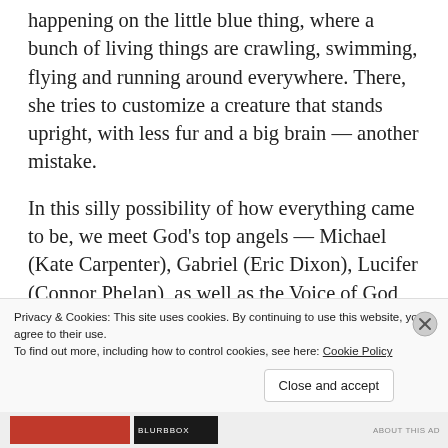happening on the little blue thing, where a bunch of living things are crawling, swimming, flying and running around everywhere. There, she tries to customize a creature that stands upright, with less fur and a big brain — another mistake.
In this silly possibility of how everything came to be, we meet God's top angels — Michael (Kate Carpenter), Gabriel (Eric Dixon), Lucifer (Connor Phelan), as well as the Voice of God (Craig Kemp) — and Biblical characters
Privacy & Cookies: This site uses cookies. By continuing to use this website, you agree to their use.
To find out more, including how to control cookies, see here: Cookie Policy
Close and accept